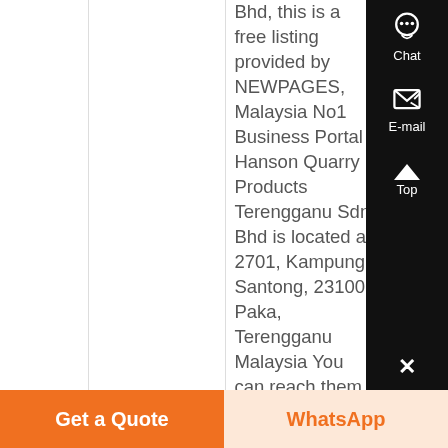Bhd, this is a free listing provided by NEWPAGES, Malaysia No1 Business Portal Hanson Quarry Products Terengganu Sdn Bhd is located at 2701, Kampung Santong, 23100 Paka, Terengganu Malaysia You can reach them
[Figure (other): Sidebar with Chat, E-mail, Top, and Close buttons on a dark background]
Get a Quote
WhatsApp